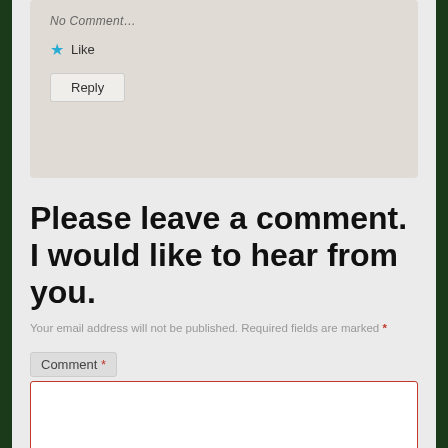[Figure (screenshot): Partial comment card with Like (star icon) and Reply button on a beige/tan background]
Please leave a comment. I would like to hear from you.
Your email address will not be published. Required fields are marked *
Comment *
[Figure (screenshot): Empty comment textarea with red border]
Name button (partially visible at bottom)